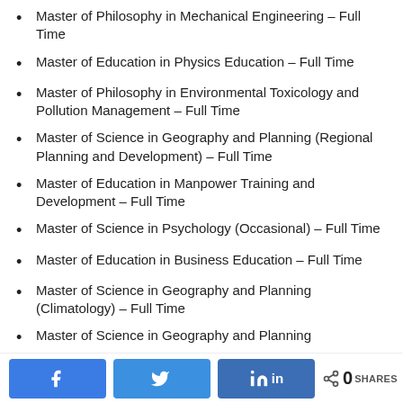Master of Philosophy in Mechanical Engineering – Full Time
Master of Education in Physics Education – Full Time
Master of Philosophy in Environmental Toxicology and Pollution Management – Full Time
Master of Science in Geography and Planning (Regional Planning and Development) – Full Time
Master of Education in Manpower Training and Development – Full Time
Master of Science in Psychology (Occasional) – Full Time
Master of Education in Business Education – Full Time
Master of Science in Geography and Planning (Climatology) – Full Time
Master of Science in Geography and Planning
Share buttons: Facebook, Twitter, LinkedIn. 0 SHARES